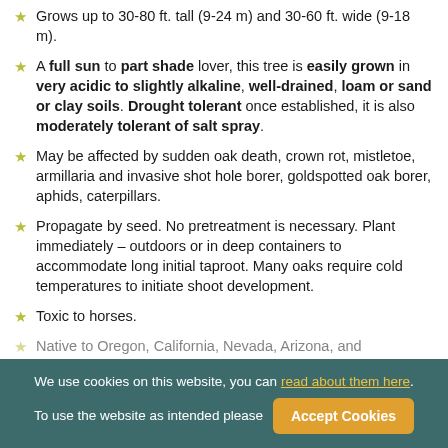Grows up to 30-80 ft. tall (9-24 m) and 30-60 ft. wide (9-18 m).
A full sun to part shade lover, this tree is easily grown in very acidic to slightly alkaline, well-drained, loam or sand or clay soils. Drought tolerant once established, it is also moderately tolerant of salt spray.
May be affected by sudden oak death, crown rot, mistletoe, armillaria and invasive shot hole borer, goldspotted oak borer, aphids, caterpillars.
Propagate by seed. No pretreatment is necessary. Plant immediately – outdoors or in deep containers to accommodate long initial taproot. Many oaks require cold temperatures to initiate shoot development.
Toxic to horses.
Native to Oregon, California, Nevada, Arizona, and
We use cookies on this website, you can read about them here. To use the website as intended please  Accept Cookies